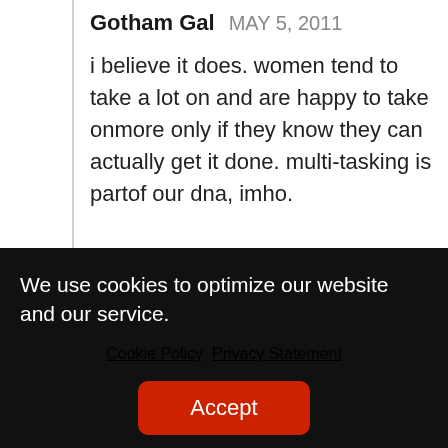Gotham Gal   MAY 5, 2011
i believe it does. women tend to take a lot on and are happy to take onmore only if they know they can actually get it done. multi-tasking is partof our dna, imho.
ShanaC   MAY 8, 2011
At what point does busy become too busy in all of this
We use cookies to optimize our website and our service.
Cookie Policy   Privacy Statement
Accept